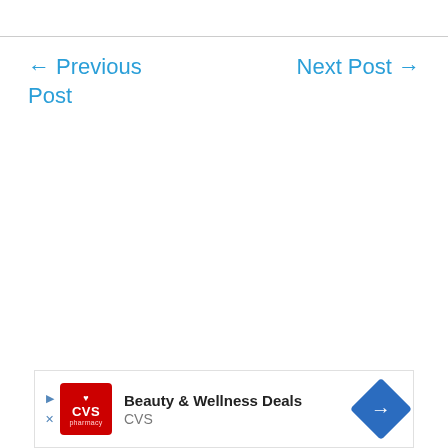← Previous Post
Next Post →
[Figure (other): CVS Pharmacy advertisement banner with text 'Beauty & Wellness Deals' and 'CVS']